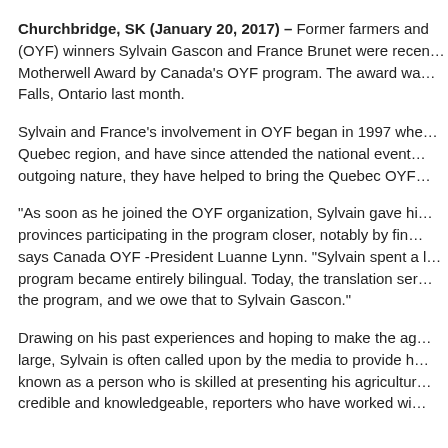Churchbridge, SK (January 20, 2017) – Former farmers and (OYF) winners Sylvain Gascon and France Brunet were recently presented the Motherwell Award by Canada's OYF program. The award was presented in Falls, Ontario last month.
Sylvain and France's involvement in OYF began in 1997 whe… Quebec region, and have since attended the national event… outgoing nature, they have helped to bring the Quebec OYF…
“As soon as he joined the OYF organization, Sylvain gave him… provinces participating in the program closer, notably by find… says Canada OYF -President Luanne Lynn. “Sylvain spent a lo… program became entirely bilingual. Today, the translation ser… the program, and we owe that to Sylvain Gascon.”
Drawing on his past experiences and hoping to make the ag… large, Sylvain is often called upon by the media to provide h… known as a person who is skilled at presenting his agricultur… credible and knowledgeable, reporters who have worked wi…